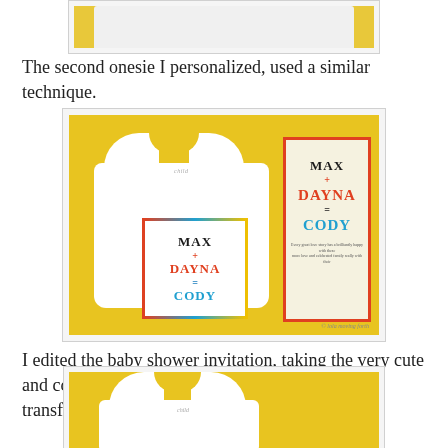[Figure (photo): Partial view of a personalized onesie on yellow background, image cropped at top]
The second onesie I personalized, used a similar technique.
[Figure (photo): Photo of a white onesie with colorful MAX + DAYNA = CODY design on yellow background, next to a matching baby shower invitation card]
I edited the baby shower invitation, taking the very cute and colorful baby equation and, again, was able to transfer it onto a onesie.
[Figure (photo): Partial view of bottom of page showing another personalized onesie on yellow background, image cropped at bottom]